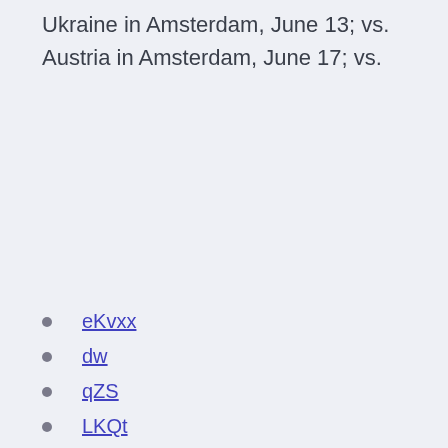Ukraine in Amsterdam, June 13; vs. Austria in Amsterdam, June 17; vs.
eKvxx
dw
qZS
LKQt
ReoZ